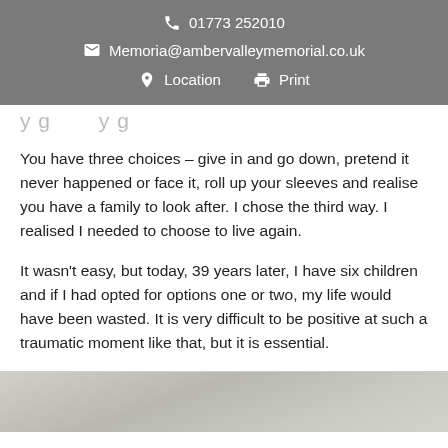01773 252010
Memoria@ambervalleymemorial.co.uk
Location   Print
You have three choices – give in and go down, pretend it never happened or face it, roll up your sleeves and realise you have a family to look after. I chose the third way. I realised I needed to choose to live again.
It wasn't easy, but today, 39 years later, I have six children and if I had opted for options one or two, my life would have been wasted. It is very difficult to be positive at such a traumatic moment like that, but it is essential.
[Figure (photo): Partial photo visible at bottom of page, appears to show a light-colored surface or stone texture]